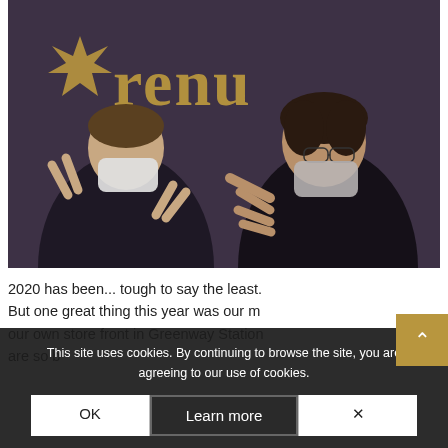[Figure (photo): Two people wearing face masks standing in front of a dark purple/grey wall with the 'renu' logo (gold text with a sunburst star icon). The person on the left is making a peace sign gesture with both hands, and the person on the right is pointing toward the center. Both wear dark clothing.]
2020 has been... tough to say the least. But one great thing this year was our m... our own store front in Greenway Station... are so b...
This site uses cookies. By continuing to browse the site, you are agreeing to our use of cookies.